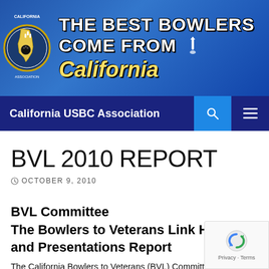[Figure (logo): California USBC Association banner with logo on the left showing California state outline with bowling ball and pins, and text 'THE BEST BOWLERS COME FROM California' on a blue gradient background]
California USBC Association
BVL 2010 REPORT
OCTOBER 9, 2010
BVL Committee
The Bowlers to Veterans Link Hospital and Presentations Report
The California Bowlers to Veterans (BVL) Committee met in